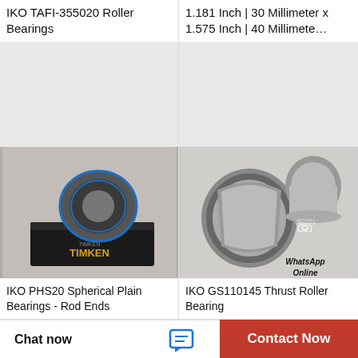IKO TAFI-355020 Roller Bearings
1.181 Inch | 30 Millimeter x 1.575 Inch | 40 Millimete…
[Figure (photo): IKO PHS20 Spherical Plain Bearing on a Timken branded black box packaging]
[Figure (photo): IKO GS110145 Thrust Roller Bearing components with WhatsApp Online chat bubble overlay]
IKO PHS20 Spherical Plain Bearings - Rod Ends
IKO GS110145 Thrust Roller Bearing
[Figure (photo): NTN Bearing branded product packaging (partially visible, blue and white)]
Chat now
Contact Now